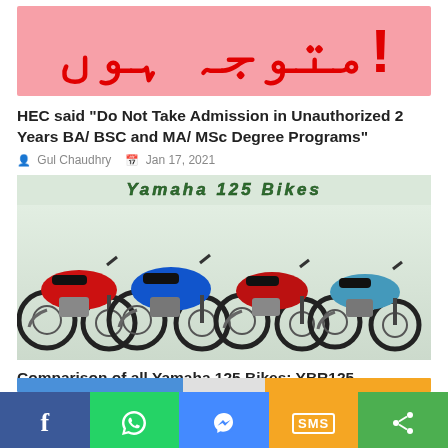[Figure (illustration): Pink/red banner with large red Arabic text (متوجہ ہوں!)]
HEC said "Do Not Take Admission in Unauthorized 2 Years BA/ BSC and MA/ MSc Degree Programs"
Gul Chaudhry   Jan 17, 2021
[Figure (photo): Photo of four Yamaha 125 motorcycles (red, blue, red, teal/blue) lined up side by side on a light green background, with italicized green text banner at top reading Yamaha 125 Bikes]
Comparison of all Yamaha 125 Bikes; YBR125, YBR125G, YB125Z and YB125Z-DX
Gul Chaudhry   Nov 08, 2020
f  [WhatsApp]  [Messenger]  SMS  [Share]